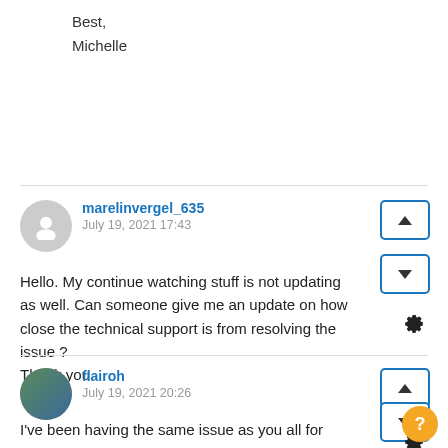Best,
Michelle
marelinvergel_635
July 19, 2021 17:43

Hello. My continue watching stuff is not updating as well. Can someone give me an update on how close the technical support is from resolving the issue ?
Thank you
flairoh
July 19, 2021 20:26

I've been having the same issue as you all for